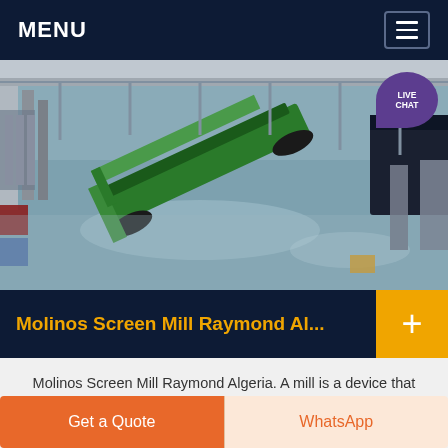MENU
[Figure (photo): Aerial view of a large industrial facility with a green mining/screening machine on a factory floor]
Molinos Screen Mill Raymond Al...
Molinos Screen Mill Raymond Algeria. A mill is a device that breaks solid materials into smaller pieces by grinding, crushing, or cutting . is the work index measured in a laboratory ball mill
Get a Quote   WhatsApp